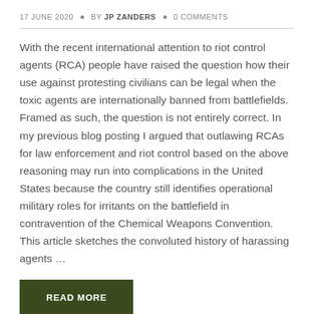17 JUNE 2020 • BY JP ZANDERS • 0 COMMENTS
With the recent international attention to riot control agents (RCA) people have raised the question how their use against protesting civilians can be legal when the toxic agents are internationally banned from battlefields. Framed as such, the question is not entirely correct. In my previous blog posting I argued that outlawing RCAs for law enforcement and riot control based on the above reasoning may run into complications in the United States because the country still identifies operational military roles for irritants on the battlefield in contravention of the Chemical Weapons Convention. This article sketches the convoluted history of harassing agents …
READ MORE